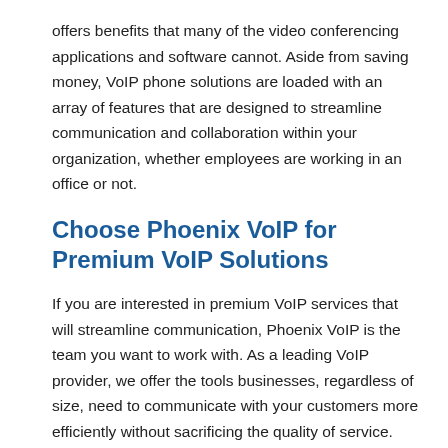offers benefits that many of the video conferencing applications and software cannot. Aside from saving money, VoIP phone solutions are loaded with an array of features that are designed to streamline communication and collaboration within your organization, whether employees are working in an office or not.
Choose Phoenix VoIP for Premium VoIP Solutions
If you are interested in premium VoIP services that will streamline communication, Phoenix VoIP is the team you want to work with. As a leading VoIP provider, we offer the tools businesses, regardless of size, need to communicate with your customers more efficiently without sacrificing the quality of service. With Hosted PBX, web conferencing, virtual fax, and other solutions, our business